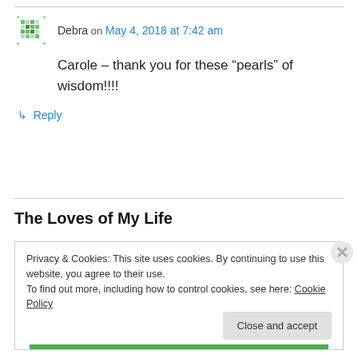Debra on May 4, 2018 at 7:42 am
Carole – thank you for these “pearls” of wisdom!!!!
↳ Reply
The Loves of My Life
Privacy & Cookies: This site uses cookies. By continuing to use this website, you agree to their use.
To find out more, including how to control cookies, see here: Cookie Policy
Close and accept